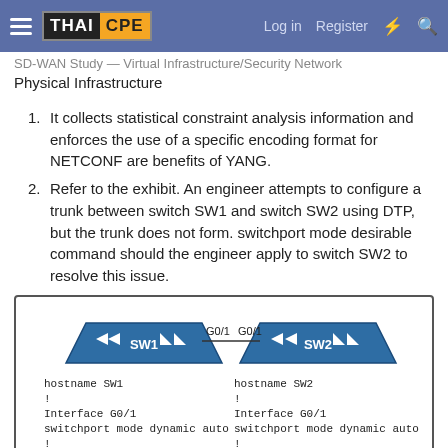THAI CPE | Log in | Register
Physical Infrastructure
It collects statistical constraint analysis information and enforces the use of a specific encoding format for NETCONF are benefits of YANG.
Refer to the exhibit. An engineer attempts to configure a trunk between switch SW1 and switch SW2 using DTP, but the trunk does not form. switchport mode desirable command should the engineer apply to switch SW2 to resolve this issue.
[Figure (engineering-diagram): Network diagram showing two switches SW1 and SW2 connected via G0/1 interfaces. SW1 config: hostname SW1, Interface G0/1, switchport mode dynamic auto. SW2 config: hostname SW2, Interface G0/1, switchport mode dynamic auto.]